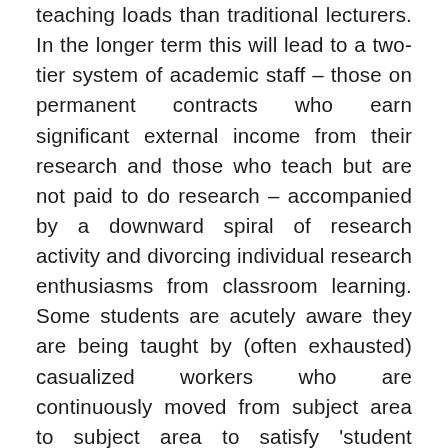teaching loads than traditional lecturers. In the longer term this will lead to a two-tier system of academic staff – those on permanent contracts who earn significant external income from their research and those who teach but are not paid to do research – accompanied by a downward spiral of research activity and divorcing individual research enthusiasms from classroom learning. Some students are acutely aware they are being taught by (often exhausted) casualized workers who are continuously moved from subject area to subject area to satisfy 'student demand' and staffing gaps. Others don't recognize this, and are positively evaluate their increasingly homogenized 'student experience' – which ultimately garners their universities better